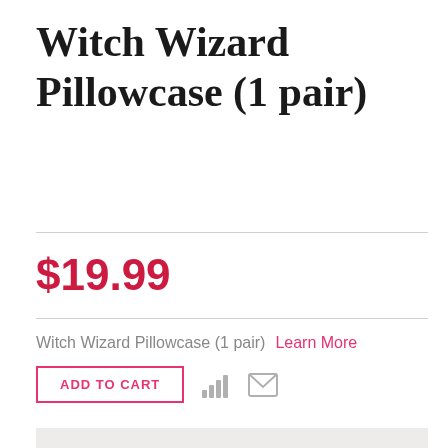Witch Wizard Pillowcase (1 pair)
$19.99
Witch Wizard Pillowcase (1 pair)   Learn More
ADD TO CART
[Figure (photo): Photo of a white ornate metal bed headboard with scrollwork design, shown against a light background.]